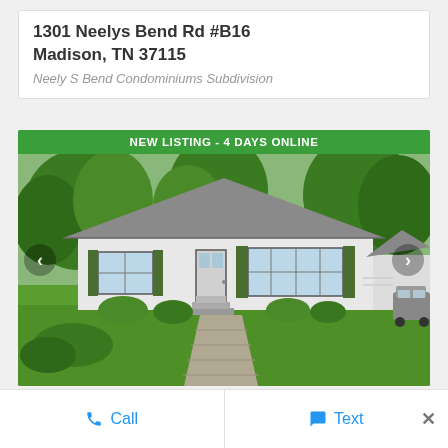1301 Neelys Bend Rd #B16
Madison, TN 37115
Neely S Bend Condominiums Subdivision
[Figure (photo): Exterior photo of a white single-story ranch-style house with green shutters, front door with steps, large front lawn, trees in background, and a van in the driveway on the right. A green banner at top reads 'NEW LISTING - 4 DAYS ONLINE'. Left and right navigation arrows are visible.]
Call   Text